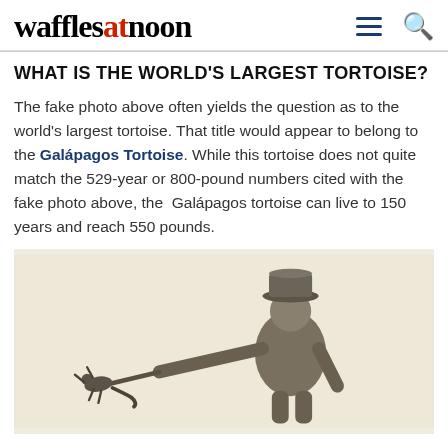wafflesatnoon
WHAT IS THE WORLD'S LARGEST TORTOISE?
The fake photo above often yields the question as to the world's largest tortoise. That title would appear to belong to the Galápagos Tortoise. While this tortoise does not quite match the 529-year or 800-pound numbers cited with the fake photo above, the Galápagos tortoise can live to 150 years and reach 550 pounds.
[Figure (photo): Black and white vintage photo of a person wearing a hat holding a small animal or lizard on a long stick/rod, outstretched to the side.]